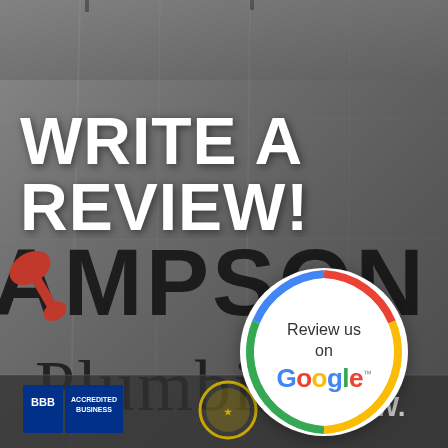[Figure (photo): Photo of a banner for Sampson Plumbing in the background, showing partial text 'AMPSON' and 'Plumbing' with a red wrench graphic. The bottom shows BBB Accredited Business badge, a circular seal badge, and partial website URL starting with 'WWW.'. Overlaid on the photo is a large white bold 'WRITE A REVIEW!' headline and a Google Review circular badge.]